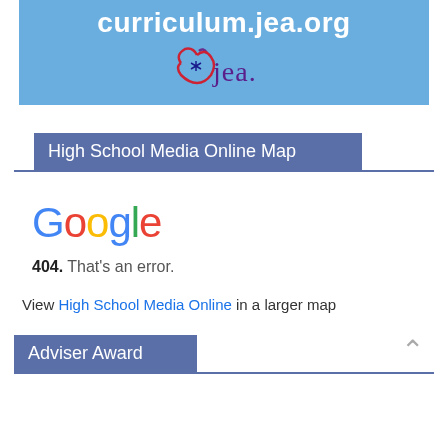[Figure (logo): JEA curriculum website header banner with URL curriculum.jea.org and JEA logo on blue background]
High School Media Online Map
[Figure (screenshot): Google 404 error page embedded showing Google logo and 404. That's an error. message]
View High School Media Online in a larger map
Adviser Award